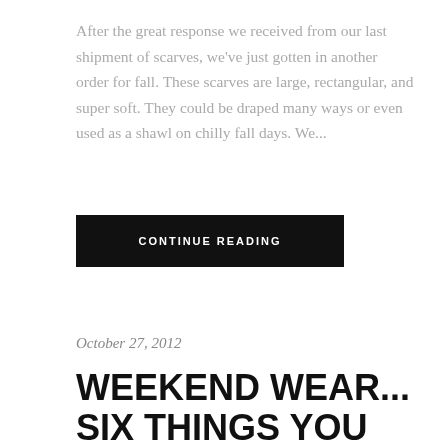After the great response we received from our last shipment of scarves, we've just gotten in another order for fall. These scarves are large, rectangular, and super soft. They could be draped many ways or even used as a shawl on chilly fall days. We...
CONTINUE READING
October 27, 2012
WEEKEND WEAR... SIX THINGS YOU